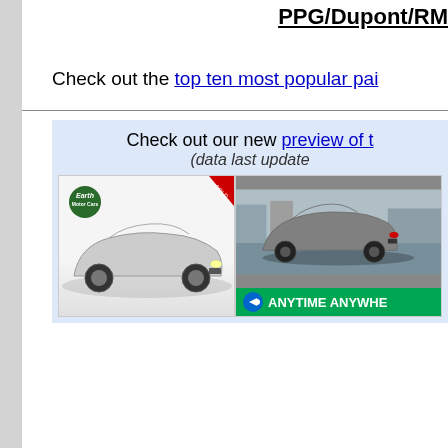PPG/Dupont/RM
Check out the top ten most popular pai
[Figure (screenshot): Blue/white box with text: Check out our new preview of t... (data last updated...) and two car images - left shows a white/silver Mustang GT500 with Earth Motor Cars logo, right shows a gray Mustang with Anytime Anywhere green banner]
Check out our new preview of t (data last updated